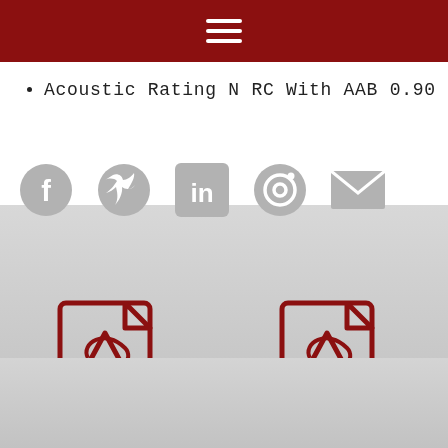Navigation menu
Acoustic Rating NRC With AAB 0.90
[Figure (infographic): Social media sharing icons: Facebook, Twitter, LinkedIn, Pinterest, Email — all in gray]
[Figure (infographic): Four PDF document download icons arranged in a 2x2 grid on a gray background: SAMPLE PACK, BROCHURE, LOOK BOOK, INSTALLATION]
SAMPLE PACK
BROCHURE
LOOK BOOK
INSTALLATION